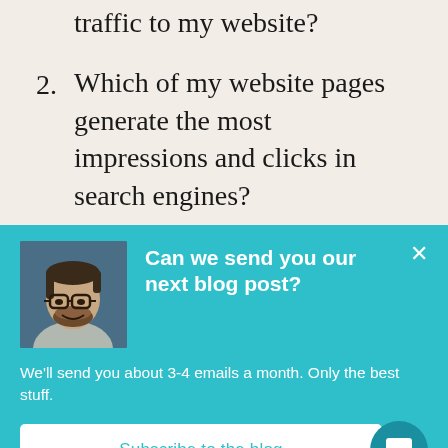traffic to my website?
2. Which of my website pages generate the most impressions and clicks in search engines?
3. What’s the average click-
[Figure (screenshot): A popup overlay with teal/cyan background containing a photo of a smiling man with glasses, a bold white heading 'Can we send you our next blog post?', body text 'We'll send you about 3-4 emails a month. Only the best stuff.', a white 'Subscribe to the blog' button, a close X button, and a dark teal circular chat icon.]